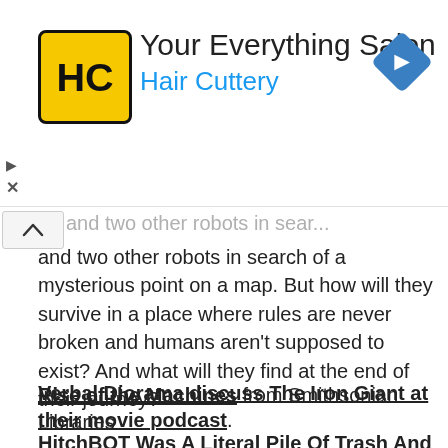[Figure (logo): Hair Cuttery advertisement banner with yellow HC logo, text 'Your Everything Salon' and 'Hair Cuttery' in blue, and a blue navigation diamond icon]
and two other robots in search of a mysterious point on a map. But how will they survive in a place where rules are never broken and humans aren't supposed to exist? And what will they find at the end of their journey?
Rise of the Machines from Smithsonian Libraries
Verbal Diorama discuss The Iron Giant at their movie podcast.
HitchBOT Was A Literal Pile Of Trash And Got What It Deserved from Deadspin